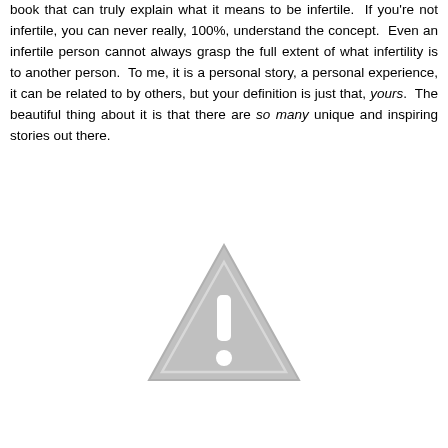book that can truly explain what it means to be infertile.  If you're not infertile, you can never really, 100%, understand the concept.  Even an infertile person cannot always grasp the full extent of what infertility is to another person.  To me, it is a personal story, a personal experience, it can be related to by others, but your definition is just that, yours.  The beautiful thing about it is that there are so many unique and inspiring stories out there.
[Figure (illustration): A grey warning triangle with an exclamation mark inside, centered on the lower half of the page.]